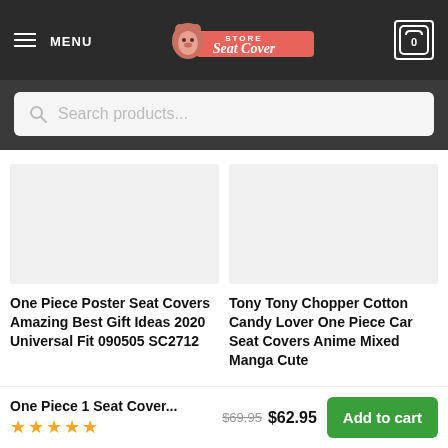MENU | Store Seat Cover | Cart 0
Search products...
One Piece Poster Seat Covers Amazing Best Gift Ideas 2020 Universal Fit 090505 SC2712
Tony Tony Chopper Cotton Candy Lover One Piece Car Seat Covers Anime Mixed Manga Cute
One Piece 1 Seat Cover...
★★★★★
$69.95  $62.95
Add to cart